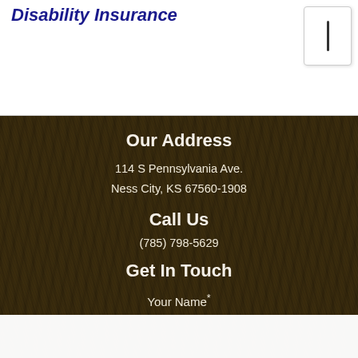Disability Insurance
Our Address
114 S Pennsylvania Ave.
Ness City, KS 67560-1908
Call Us
(785) 798-5629
Get In Touch
Your Name*